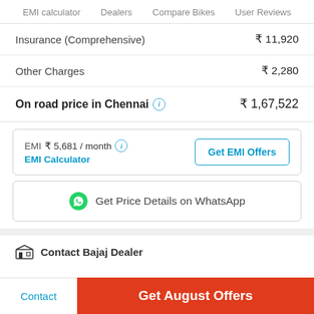EMI calculator   Dealers   Compare Bikes   User Reviews
| Item | Price |
| --- | --- |
| Insurance (Comprehensive) | ₹ 11,920 |
| Other Charges | ₹ 2,280 |
On road price in Chennai   ₹ 1,67,522
EMI ₹ 5,681 / month   EMI Calculator   Get EMI Offers
Get Price Details on WhatsApp
Contact Bajaj Dealer
Contact   Get August Offers